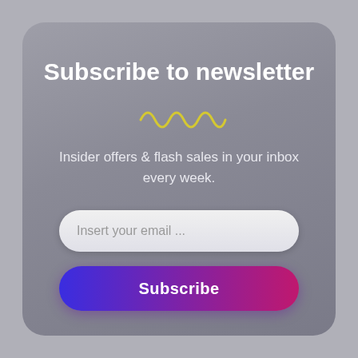Subscribe to newsletter
[Figure (illustration): Yellow wavy squiggle decorative line]
Insider offers & flash sales in your inbox every week.
[Figure (other): Email input field with placeholder text 'Insert your email ...']
[Figure (other): Subscribe button with blue-to-red gradient]